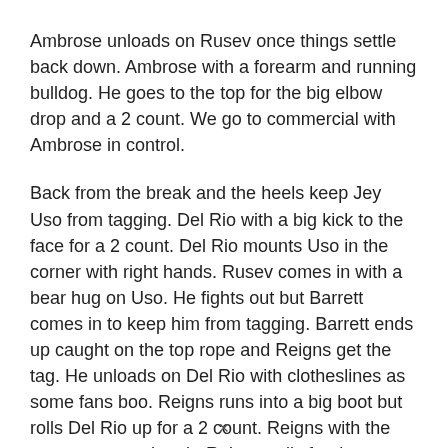Ambrose unloads on Rusev once things settle back down. Ambrose with a forearm and running bulldog. He goes to the top for the big elbow drop and a 2 count. We go to commercial with Ambrose in control.
Back from the break and the heels keep Jey Uso from tagging. Del Rio with a big kick to the face for a 2 count. Del Rio mounts Uso in the corner with right hands. Rusev comes in with a bear hug on Uso. He fights out but Barrett comes in to keep him from tagging. Barrett ends up caught on the top rope and Reigns get the tag. He unloads on Del Rio with clotheslines as some fans boo. Reigns runs into a big boot but rolls Del Rio up for a 2 count. Reigns with the one-arm powerbomb. Reigns calls for the Superman punch but hits Barrett with it on the apron. Del Rio gets dumped to the apron and hit with a